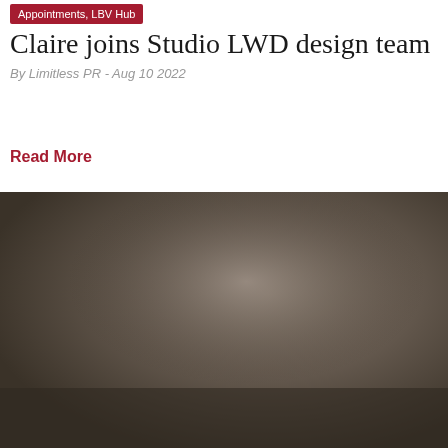Appointments, LBV Hub
Claire joins Studio LWD design team
By Limitless PR - Aug 10 2022
Read More
[Figure (photo): A blurred/dark brownish-grey photograph, likely showing a person or interior scene, occupying the lower portion of the page.]